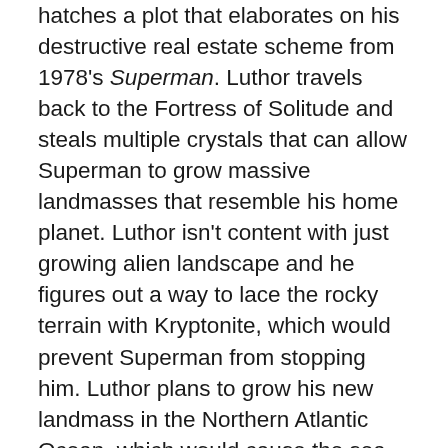hatches a plot that elaborates on his destructive real estate scheme from 1978's Superman. Luthor travels back to the Fortress of Solitude and steals multiple crystals that can allow Superman to grow massive landmasses that resemble his home planet. Luthor isn't content with just growing alien landscape and he figures out a way to lace the rocky terrain with Kryptonite, which would prevent Superman from stopping him. Luthor plans to grow his new landmass in the Northern Atlantic Ocean, which would cause the sea level to rise and destroy the United States, killing billions of people.
My first complaint about Singer's Superman Returns is that casting of the blank slate that is Brandon Routh, who has absolutely no screen presence at all. He barely even registers half the time and seems downright uncomfortable when he pulls on the iconic tights. He is expressionless